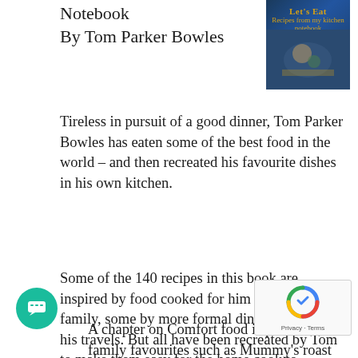Notebook
By Tom Parker Bowles
[Figure (photo): Book cover of 'Let's Eat' by Tom Parker Bowles, showing a person preparing food, dark navy background with gold text]
Tireless in pursuit of a good dinner, Tom Parker Bowles has eaten some of the best food in the world – and then recreated his favourite dishes in his own kitchen.
Some of the 140 recipes in this book are inspired by food cooked for him by friends and family, some by more formal dinners, some by his travels. But all have been recreated by Tom to make them easy for the home cook to prepare.
A chapter on Comfort food is packed with family favourites such as Mummy's roast